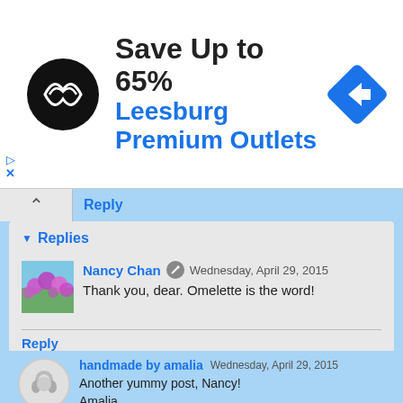[Figure (screenshot): Advertisement banner: Save Up to 65% Leesburg Premium Outlets with logo and navigation arrow icon]
Reply
▾ Replies
Nancy Chan  Wednesday, April 29, 2015
Thank you, dear. Omelette is the word!
Reply
handmade by amalia  Wednesday, April 29, 2015
Another yummy post, Nancy!
Amalia
xo
Reply